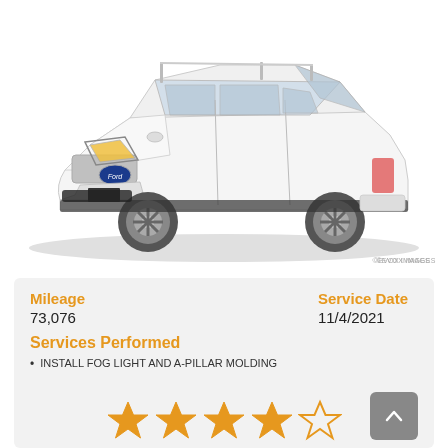[Figure (photo): White Ford Explorer SUV, front three-quarter view on white background]
©EVOX IMAGES
Mileage
73,076
Service Date
11/4/2021
Services Performed
INSTALL FOG LIGHT AND A-PILLAR MOLDING
[Figure (illustration): Five gold/orange star rating icons in two rows]